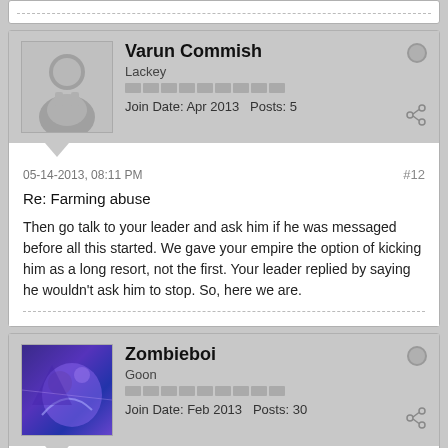(top of previous post, partial)
Varun Commish
Lackey
Join Date: Apr 2013  Posts: 5
05-14-2013, 08:11 PM
#12
Re: Farming abuse
Then go talk to your leader and ask him if he was messaged before all this started. We gave your empire the option of kicking him as a long resort, not the first. Your leader replied by saying he wouldn't ask him to stop. So, here we are.
Zombieboi
Goon
Join Date: Feb 2013  Posts: 30
05-14-2013, 08:18 PM
#13